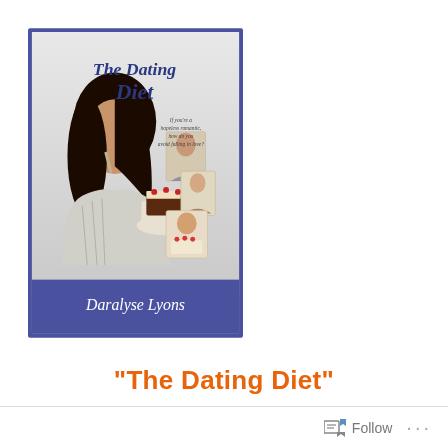[Figure (illustration): Book cover of 'The Dating Diet' by Daralyse Lyons. Shows a young woman with dark hair holding a plate with chocolate cake. Cover features italic cursive title text and tagline 'If you're a hopeless romantic, how do you avoid falling in love?' with small inset photos of people. Blue border and author name at bottom.]
“The Dating Diet”
Follow ...